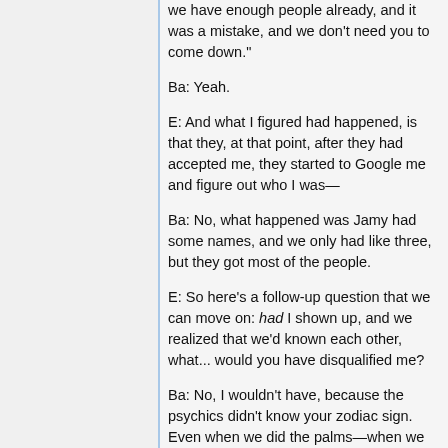we have enough people already, and it was a mistake, and we don't need you to come down."
Ba: Yeah.
E: And what I figured had happened, is that they, at that point, after they had accepted me, they started to Google me and figure out who I was—
Ba: No, what happened was Jamy had some names, and we only had like three, but they got most of the people.
E: So here's a follow-up question that we can move on: had I shown up, and we realized that we'd known each other, what... would you have disqualified me?
Ba: No, I wouldn't have, because the psychics didn't know your zodiac sign. Even when we did the palms—when we had the palms taken, I didn't know which